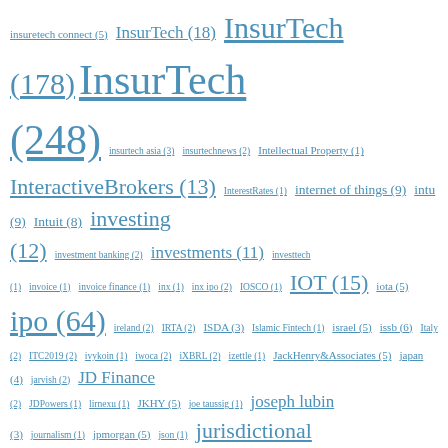insuretech connect (5) InsurTech (18) InsurTech (178) InsurTech (248) insurtech asia (3) insurtechnews (2) Intellectual Property (1) InteractiveBrokers (13) InterestRates (1) internet of things (9) intu (9) Intuit (8) investing (12) investment banking (2) investments (11) investtech (1) invoice (1) invoice finance (1) inx (1) inx ipo (2) IOSCO (1) IOT (15) iota (5) ipo (64) ireland (2) IRTA (2) ISDA (3) Islamic Fintech (1) israel (5) issb (6) Italy (2) ITC2019 (2) ivykoin (1) iwoca (2) iXBRL (2) izettle (1) JackHenry&Associates (5) japan (4) jarvish (2) JD Finance (2) JDPowers (1) lirnexu (1) JKHY (5) joe taussig (1) joseph lubin (3) journalism (1) jpmorgan (5) json (1) jurisdictional competition (9) kabbage (5) KAM (2) kenya (2) Kickico (2) kickstarter (2) kidcoin (1) kik (3) kin (2) klarna (10) knect365 (1) knip (2) komparu (2) korea (2) KPMG (2) Kreditch (1) kyc (8)